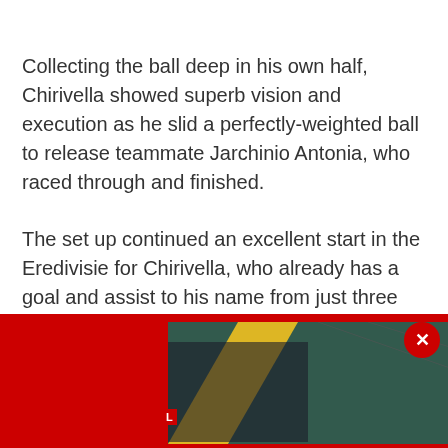Collecting the ball deep in his own half, Chirivella showed superb vision and execution as he slid a perfectly-weighted ball to release teammate Jarchinio Antonia, who raced through and finished.
The set up continued an excellent start in the Eredivisie for Chirivella, who already has a goal and assist to his name from just three appearances.
Meanwhile, Awoniyi didn't make it onto the pitch for Nijmegen, watching from the bench as an unused substitute.
[Figure (photo): Advertisement banner at the bottom of the page showing a woman with dark hair and a person wearing a red cap, with a red background on the sides and a close button in the top right corner.]